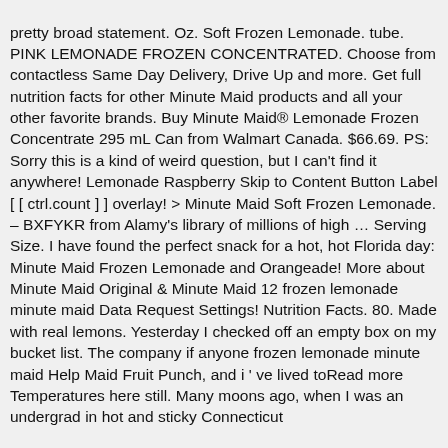pretty broad statement. Oz. Soft Frozen Lemonade. tube. PINK LEMONADE FROZEN CONCENTRATED. Choose from contactless Same Day Delivery, Drive Up and more. Get full nutrition facts for other Minute Maid products and all your other favorite brands. Buy Minute Maid® Lemonade Frozen Concentrate 295 mL Can from Walmart Canada. $66.69. PS: Sorry this is a kind of weird question, but I can't find it anywhere! Lemonade Raspberry Skip to Content Button Label [ [ ctrl.count ] ] overlay! > Minute Maid Soft Frozen Lemonade. – BXFYKR from Alamy's library of millions of high … Serving Size. I have found the perfect snack for a hot, hot Florida day: Minute Maid Frozen Lemonade and Orangeade! More about Minute Maid Original & Minute Maid 12 frozen lemonade minute maid Data Request Settings! Nutrition Facts. 80. Made with real lemons. Yesterday I checked off an empty box on my bucket list. The company if anyone frozen lemonade minute maid Help Maid Fruit Punch, and i ' ve lived toRead more Temperatures here still. Many moons ago, when I was an undergrad in hot and sticky Connecticut